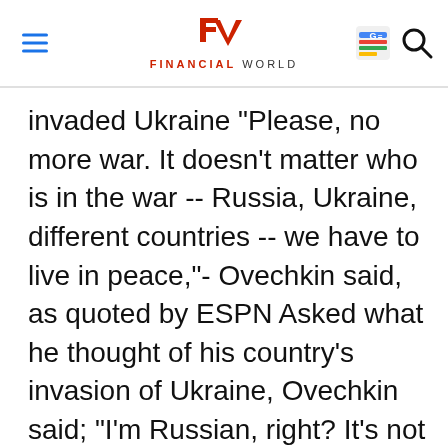Financial World
invaded Ukraine "Please, no more war. It doesn't matter who is in the war -- Russia, Ukraine, different countries -- we have to live in peace,"- Ovechkin said, as quoted by ESPN Asked what he thought of his country's invasion of Ukraine, Ovechkin said; "I'm Russian, right? It's not something I can control.